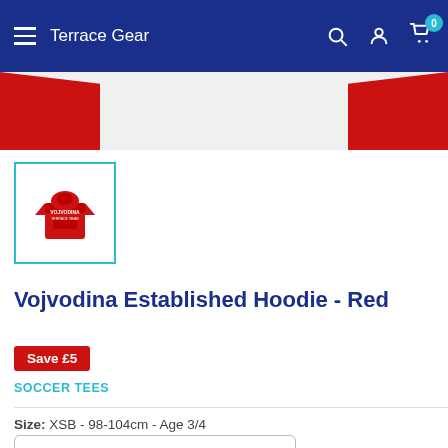Terrace Gear
[Figure (photo): Red hoodie product images peeking from top of page]
[Figure (photo): Thumbnail of red Vojvodina Established Hoodie with cyan border]
Vojvodina Established Hoodie - Red
Save £5
SOCCER TEES
Size: XSB - 98-104cm - Age 3/4
XSB - 98-104cm - Age 3/4